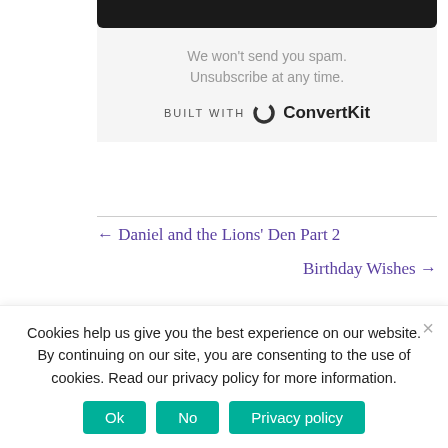[Figure (screenshot): Black rounded bar at top of a form box, part of a ConvertKit email subscription form]
We won't send you spam. Unsubscribe at any time.
BUILT WITH  ConvertKit
0
SHARES
← Daniel and the Lions' Den Part 2
Birthday Wishes →
Cookies help us give you the best experience on our website. By continuing on our site, you are consenting to the use of cookies. Read our privacy policy for more information.